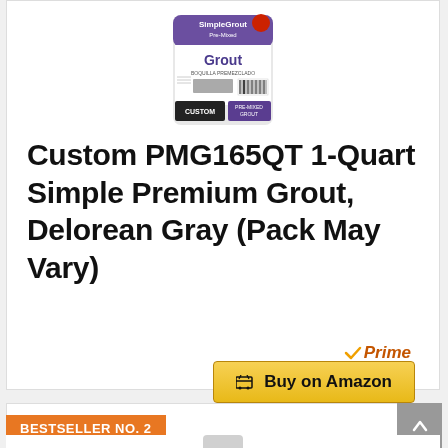[Figure (photo): Custom Simple Grout Pre-Mixed Grout container, Delorean Gray color, 1 quart size with purple and white label showing the Custom brand.]
Custom PMG165QT 1-Quart Simple Premium Grout, Delorean Gray (Pack May Vary)
[Figure (logo): Amazon Prime badge with orange checkmark and italic Prime text]
Buy on Amazon
BESTSELLER NO. 2
[Figure (photo): Partially visible product image at bottom of page for BESTSELLER NO. 2]